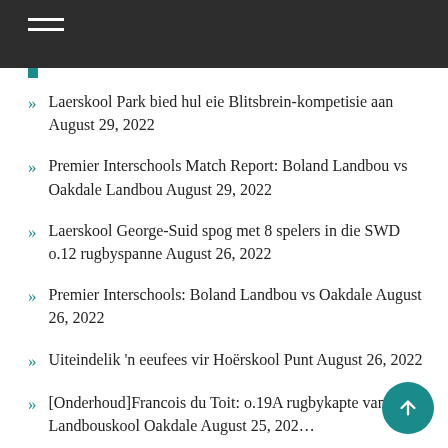Laerskool Park bied hul eie Blitsbrein-kompetisie aan August 29, 2022
Premier Interschools Match Report: Boland Landbou vs Oakdale Landbou August 29, 2022
Laerskool George-Suid spog met 8 spelers in die SWD o.12 rugbyspanne August 26, 2022
Premier Interschools: Boland Landbou vs Oakdale August 26, 2022
Uiteindelik 'n eeufees vir Hoërskool Punt August 26, 2022
[Onderhoud]Francois du Toit: o.19A rugbykapte van Hoër Landbouskool Oakdale August 25, 2022